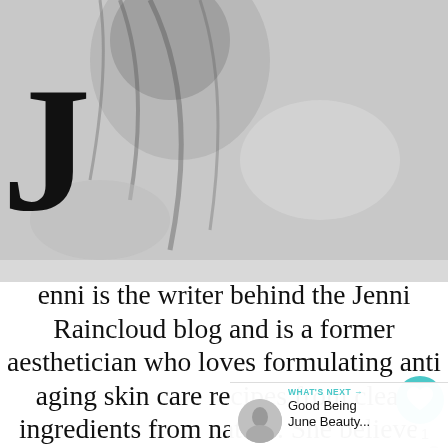[Figure (photo): Black and white photo of a woman (Jenni Raincloud) with hair falling forward, hands visible, used as background behind a large drop-cap letter J]
Jenni is the writer behind the Jenni Raincloud blog and is a former aesthetician who loves formulating anti aging skin care recipes from clean ingredients from nature. She believes that if you can't eat it, don't put it on your skin! Jenni Raincloud is full of skin care advice, DIY skincare recipes and beauty tips!
[Figure (infographic): UI overlay: teal heart icon with count '1', and share icon]
[Figure (infographic): WHAT'S NEXT arrow label with circular thumbnail and text 'Good Being June Beauty...']